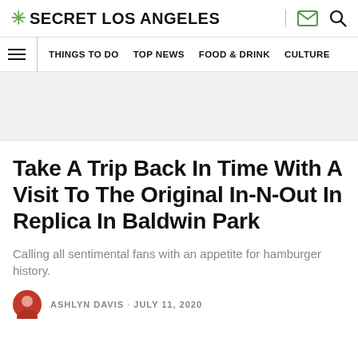* SECRET LOS ANGELES
THINGS TO DO  TOP NEWS  FOOD & DRINK  CULTURE
[Figure (other): Gray advertisement/banner placeholder area]
Take A Trip Back In Time With A Visit To The Original In-N-Out In Replica In Baldwin Park
Calling all sentimental fans with an appetite for hamburger history.
ASHLYN DAVIS · JULY 11, 2020